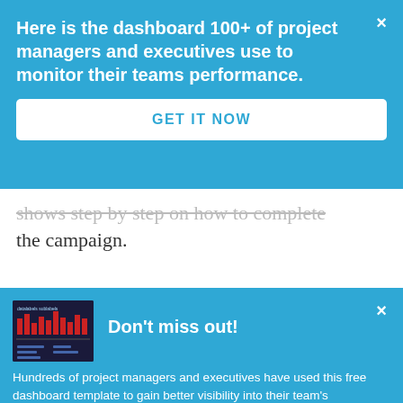Here is the dashboard 100+ of project managers and executives use to monitor their teams performance.
GET IT NOW
shows step by step on how to complete the campaign.
Don't miss out!
Hundreds of project managers and executives have used this free dashboard template to gain better visibility into their team's performance.
GET FREE DASHBOARD